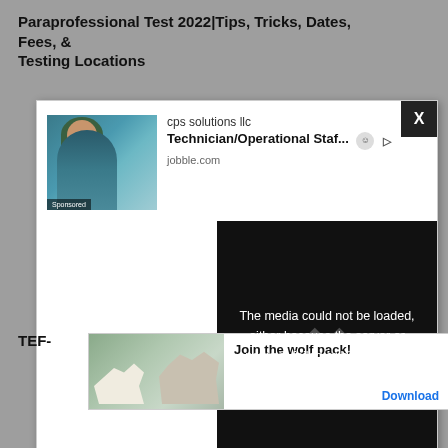Paraprofessional Test 2022|Tips, Tricks, Dates, Fees, & Testing Locations
[Figure (screenshot): Advertisement modal overlay showing a sponsored job listing for 'cps solutions llc Technician/Operational Staf...' on jobble.com, with a photo of a woman in a hijab. Has a black X close button in the top-right corner.]
[Figure (screenshot): Media error overlay with white text on black background reading: 'The media could not be loaded, either because the server or network failed or because the format is not supported.' with a large X watermark.]
[Figure (screenshot): Small circular X button on the right side of the page.]
TEF-
[Figure (screenshot): Bottom advertisement bar with wolf pack imagery. Text reads 'Join the wolf pack!' with a Download button and an Ad label. Shows wolf silhouette images.]